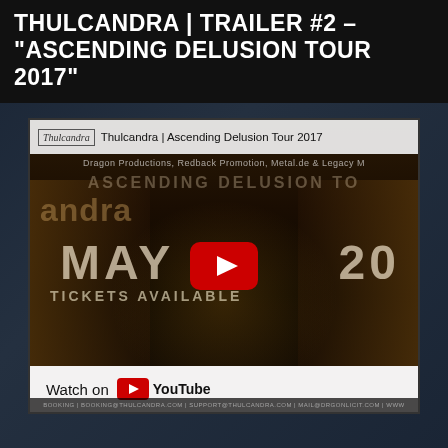THULCANDRA | TRAILER #2 – "ASCENDING DELUSION TOUR 2017"
[Figure (screenshot): YouTube video thumbnail/embed for Thulcandra | Ascending Delusion Tour 2017 trailer #2. Shows a metal band performing on stage with text overlays 'MAY 20' and 'TICKETS AVAILABLE'. A red YouTube play button is centered on the image. A 'Watch on YouTube' bar appears at the bottom of the video frame.]